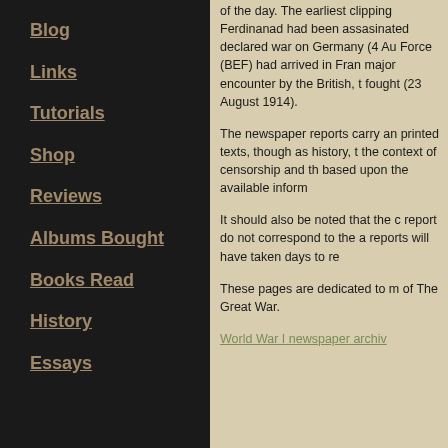Blog
Links
Tutorials
Shop
Reviews
Albums Bought
Books Read
History
Essays
of the day. The earliest clipping Ferdinanad had been assasinated declared war on Germany (4 Au Force (BEF) had arrived in Fran major encounter by the British, t fought (23 August 1914).
The newspaper reports carry an printed texts, though as history, the context of censorship and th based upon the available inform...
It should also be noted that the c report do not correspond to the a reports will have taken days to re
These pages are dedicated to m of The Great War.
World War I newspaper archiv...